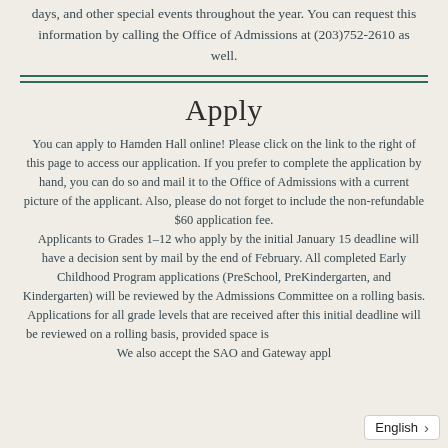days, and other special events throughout the year. You can request this information by calling the Office of Admissions at (203)752-2610 as well.
Apply
You can apply to Hamden Hall online! Please click on the link to the right of this page to access our application. If you prefer to complete the application by hand, you can do so and mail it to the Office of Admissions with a current picture of the applicant. Also, please do not forget to include the non-refundable $60 application fee.
 Applicants to Grades 1–12 who apply by the initial January 15 deadline will have a decision sent by mail by the end of February. All completed Early Childhood Program applications (PreSchool, PreKindergarten, and Kindergarten) will be reviewed by the Admissions Committee on a rolling basis. Applications for all grade levels that are received after this initial deadline will be reviewed on a rolling basis, provided space is available. We also accept the SAO and Gateway appl